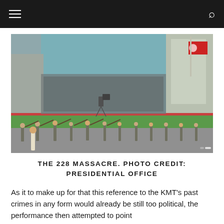≡   [search icon]
[Figure (photo): Outdoor public ceremony scene, likely a reenactment of the 228 Massacre. People in period clothing are shown in a large open plaza area, some bowing or in dramatic poses. Soldiers or uniformed figures with rifles line up in the background. A large green banner/backdrop is visible, with crowds of spectators in the stands behind. Buildings and a flag visible in the upper right background.]
THE 228 MASSACRE. PHOTO CREDIT: PRESIDENTIAL OFFICE
As it to make up for that this reference to the KMT's past crimes in any form would already be still too political, the performance then attempted to point